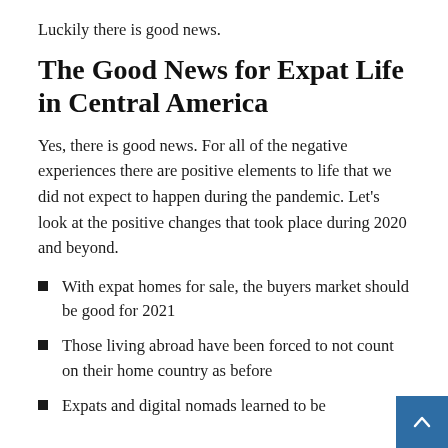Luckily there is good news.
The Good News for Expat Life in Central America
Yes, there is good news. For all of the negative experiences there are positive elements to life that we did not expect to happen during the pandemic. Let’s look at the positive changes that took place during 2020 and beyond.
With expat homes for sale, the buyers market should be good for 2021
Those living abroad have been forced to not count on their home country as before
Expats and digital nomads learned to be